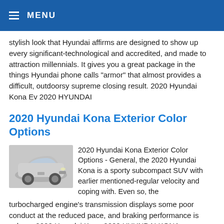≡ MENU
stylish look that Hyundai affirms are designed to show up every significant-technological and accredited, and made to attraction millennials. It gives you a great package in the things Hyundai phone calls "armor" that almost provides a difficult, outdoorsy supreme closing result. 2020 Hyundai Kona Ev 2020 HYUNDAI
2020 Hyundai Kona Exterior Color Options
[Figure (photo): Silver/grey 2020 Hyundai Kona SUV photographed from the front-left angle]
2020 Hyundai Kona Exterior Color Options - General, the 2020 Hyundai Kona is a sporty subcompact SUV with earlier mentioned-regular velocity and coping with. Even so, the turbocharged engine's transmission displays some poor conduct at the reduced pace, and braking performance is subpar. 2020 Hyundai Kona 2020 HYUNDAI KONA INTERIOR AND EXTERIOR